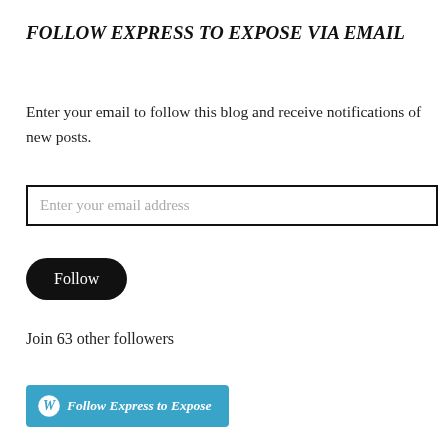FOLLOW EXPRESS TO EXPOSE VIA EMAIL
Enter your email to follow this blog and receive notifications of new posts.
Enter your email address
Follow
Join 63 other followers
Follow Express to Expose